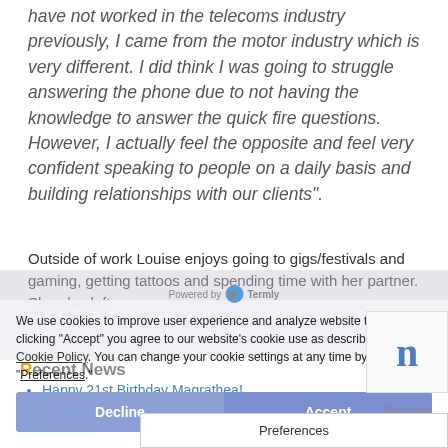have not worked in the telecoms industry previously, I came from the motor industry which is very different. I did think I was going to struggle answering the phone due to not having the knowledge to answer the quick fire questions. However, I actually feel the opposite and feel very confident speaking to people on a daily basis and building relationships with our clients".
Outside of work Louise enjoys going to gigs/festivals and gaming, getting tattoos and spending time with her partner. She also left
We use cookies to improve user experience and analyze website traffic. By clicking "Accept" you agree to our website's cookie use as described in our Cookie Policy. You can change your cookie settings at any time by clicking "Preferences".
Recent News
Happy 21st Birthday Magrathea!
Newsletter July 20...